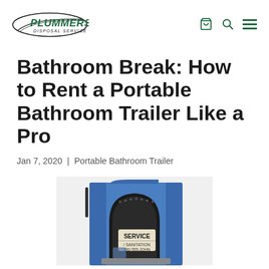Plummers Disposal Service — navigation header with logo and icons
Bathroom Break: How to Rent a Portable Bathroom Trailer Like a Pro
Jan 7, 2020 | Portable Bathroom Trailer
[Figure (photo): A blue portable bathroom trailer unit with a sign reading SERVICE / SANITATION / 800-555-JOHN on the door, photographed from the front.]